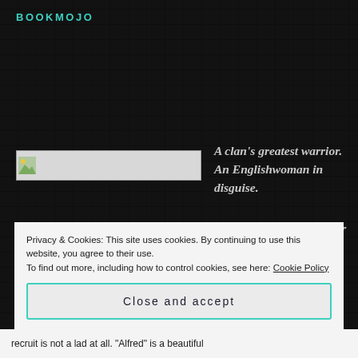BOOKMOJO
[Figure (other): Book cover image placeholder shown as a broken/loading image with a small thumbnail icon in top-left, inside a bordered rectangle]
A clan's greatest warrior. An Englishwoman in disguise.

Can their love survive her secret?

The Scot
Privacy & Cookies: This site uses cookies. By continuing to use this website, you agree to their use.
To find out more, including how to control cookies, see here: Cookie Policy
Close and accept
recruit is not a lad at all. "Alfred" is a beautiful